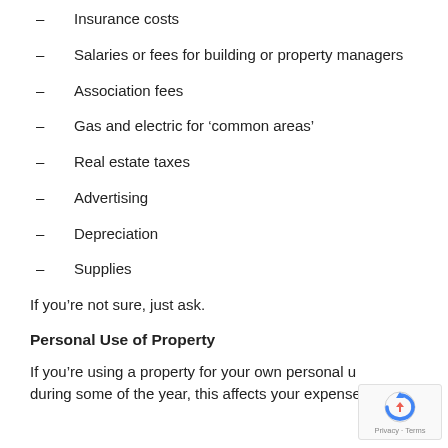Insurance costs
Salaries or fees for building or property managers
Association fees
Gas and electric for ‘common areas’
Real estate taxes
Advertising
Depreciation
Supplies
If you’re not sure, just ask.
Personal Use of Property
If you’re using a property for your own personal u... during some of the year, this affects your expense...